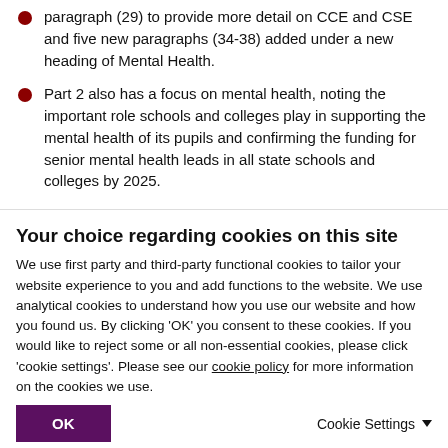paragraph (29) to provide more detail on CCE and CSE and five new paragraphs (34-38) added under a new heading of Mental Health.
Part 2 also has a focus on mental health, noting the important role schools and colleges play in supporting the mental health of its pupils and confirming the funding for senior mental health leads in all state schools and colleges by 2025.
Part 4 changes are interesting. Firstly, paragraphs 214-217 set out further guidance
Your choice regarding cookies on this site
We use first party and third-party functional cookies to tailor your website experience to you and add functions to the website. We use analytical cookies to understand how you use our website and how you found us. By clicking 'OK' you consent to these cookies. If you would like to reject some or all non-essential cookies, please click 'cookie settings'. Please see our cookie policy for more information on the cookies we use.